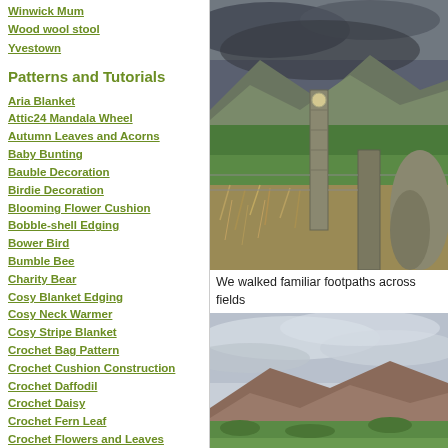Winwick Mum
Wood wool stool
Yvestown
Patterns and Tutorials
Aria Blanket
Attic24 Mandala Wheel
Autumn Leaves and Acorns
Baby Bunting
Bauble Decoration
Birdie Decoration
Blooming Flower Cushion
Bobble-shell Edging
Bower Bird
Bumble Bee
Charity Bear
Cosy Blanket Edging
Cosy Neck Warmer
Cosy Stripe Blanket
Crochet Bag Pattern
Crochet Cushion Construction
Crochet Daffodil
Crochet Daisy
Crochet Fern Leaf
Crochet Flowers and Leaves
[Figure (photo): Photo of stone gate posts and fence in a field with mountains in the background under a dramatic sky]
We walked familiar footpaths across fields
[Figure (photo): Photo of rolling hills and mountains under a cloudy sky with green fields in foreground]